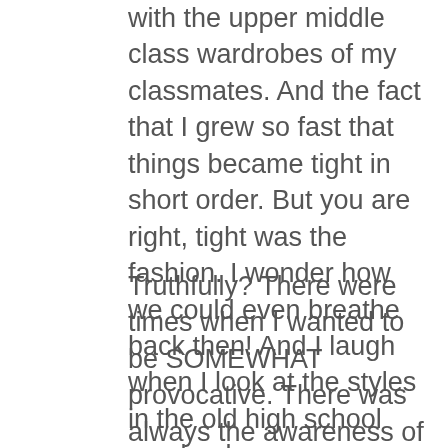with the upper middle class wardrobes of my classmates. And the fact that I grew so fast that things became tight in short order. But you are right, tight was the fashion. I wonder how we could even breathe back then! And I laugh when I look at the styles in the old high school yearbook.
Truthfully? There were times when I wanted to be SOMEWHAT provocative. There was always the awareness of changes in my body and I wondered if others noticed it. I am certain todays teens experience similar feelings. If it is inappropriate for me to say this in this forum, please feel free to delete my